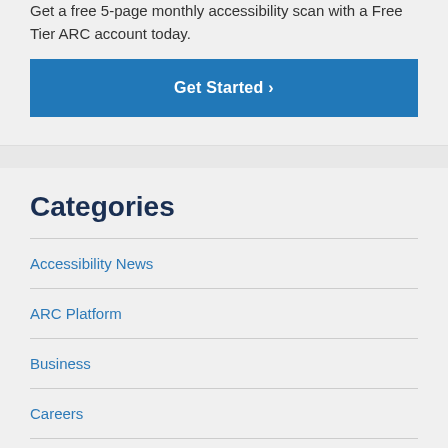Get a free 5-page monthly accessibility scan with a Free Tier ARC account today.
Get Started ›
Categories
Accessibility News
ARC Platform
Business
Careers
Development
Events